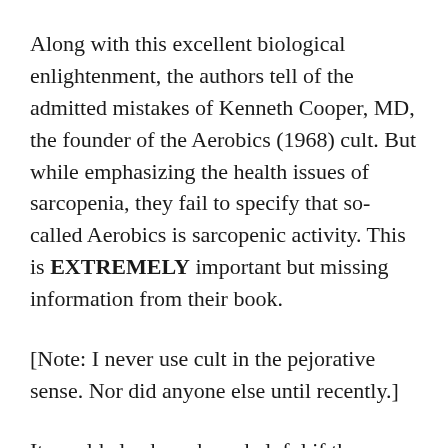Along with this excellent biological enlightenment, the authors tell of the admitted mistakes of Kenneth Cooper, MD, the founder of the Aerobics (1968) cult. But while emphasizing the health issues of sarcopenia, they fail to specify that so-called Aerobics is sarcopenic activity. This is EXTREMELY important but missing information from their book.
[Note: I never use cult in the pejorative sense. Nor did anyone else until recently.]
It would also have been helpful if the authors had explained how aerobic and Aerobics are...